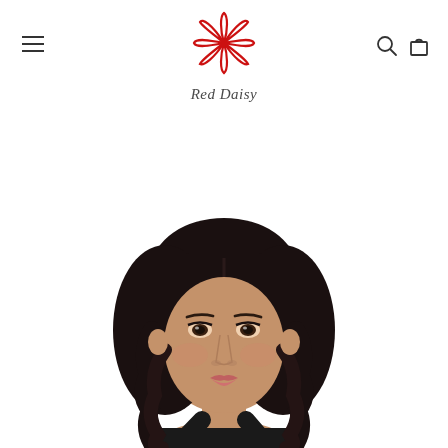Red Daisy
[Figure (photo): A young woman with dark wavy hair, warm skin tone, wearing a black top, photographed from the shoulders up against a white background. This appears to be a product/model photo for a fashion brand called Red Daisy.]